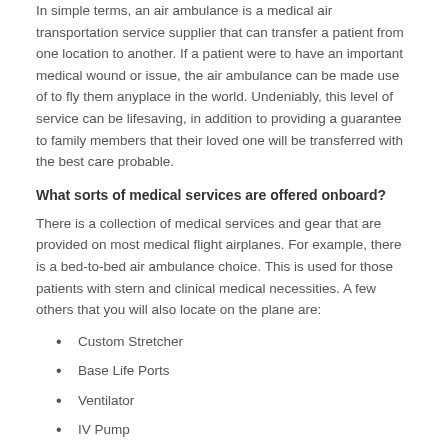In simple terms, an air ambulance is a medical air transportation service supplier that can transfer a patient from one location to another. If a patient were to have an important medical wound or issue, the air ambulance can be made use of to fly them anyplace in the world. Undeniably, this level of service can be lifesaving, in addition to providing a guarantee to family members that their loved one will be transferred with the best care probable.
What sorts of medical services are offered onboard?
There is a collection of medical services and gear that are provided on most medical flight airplanes. For example, there is a bed-to-bed air ambulance choice. This is used for those patients with stern and clinical medical necessities. A few others that you will also locate on the plane are:
Custom Stretcher
Base Life Ports
Ventilator
IV Pump
Heart Monitor, Broad Spectrum Antibiotics
These are a few of the medical flight services and medical gear